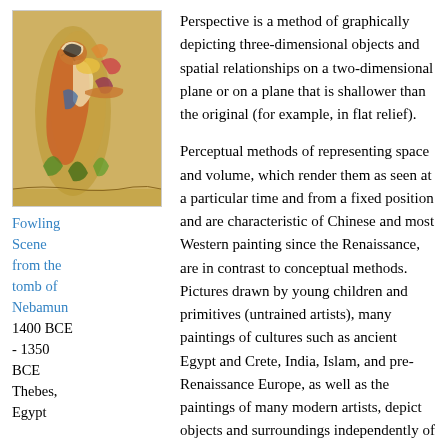[Figure (illustration): Ancient Egyptian painting, Fowling Scene from the tomb of Nebamun, colorful figure with birds, dated 1400 BCE - 1350 BCE, Thebes Egypt]
Fowling Scene from the tomb of Nebamun 1400 BCE - 1350 BCE Thebes, Egypt
Perspective is a method of graphically depicting three-dimensional objects and spatial relationships on a two-dimensional plane or on a plane that is shallower than the original (for example, in flat relief).
Perceptual methods of representing space and volume, which render them as seen at a particular time and from a fixed position and are characteristic of Chinese and most Western painting since the Renaissance, are in contrast to conceptual methods. Pictures drawn by young children and primitives (untrained artists), many paintings of cultures such as ancient Egypt and Crete, India, Islam, and pre-Renaissance Europe, as well as the paintings of many modern artists, depict objects and surroundings independently of one another--as they are known to be, rather than as they are seen to be--and from the directions that best present their most characteristic features. Many Egyptian and Cretan paintings and drawings, for example, show the head and legs of a figure in profile, while the eye and torso are shown frontally . This system produces not the illusion of depth but the sense